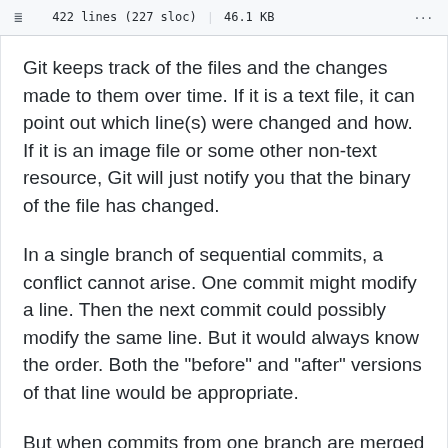422 lines (227 sloc)  |  46.1 KB
Git keeps track of the files and the changes made to them over time. If it is a text file, it can point out which line(s) were changed and how. If it is an image file or some other non-text resource, Git will just notify you that the binary of the file has changed.
In a single branch of sequential commits, a conflict cannot arise. One commit might modify a line. Then the next commit could possibly modify the same line. But it would always know the order. Both the "before" and "after" versions of that line would be appropriate.
But when commits from one branch are merged into another branch, it's possible that the changes in the commits conflict. Imagine a line of